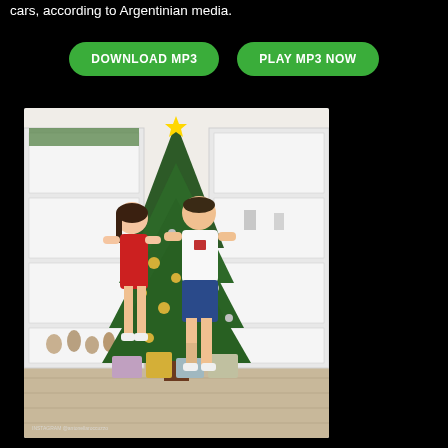cars, according to Argentinian media.
[Figure (other): Two green pill-shaped buttons labeled DOWNLOAD MP3 and PLAY MP3 NOW on a black background]
[Figure (photo): A couple standing in front of a decorated Christmas tree indoors. A woman in a red dress and platform heels and a man in a white t-shirt and blue shorts. White shelving units on either side. Instagram watermark visible at bottom left.]